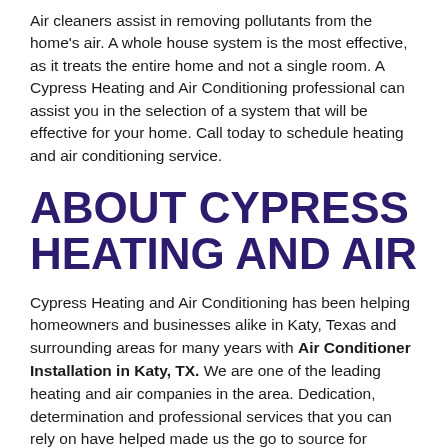Air cleaners assist in removing pollutants from the home's air. A whole house system is the most effective, as it treats the entire home and not a single room. A Cypress Heating and Air Conditioning professional can assist you in the selection of a system that will be effective for your home. Call today to schedule heating and air conditioning service.
ABOUT CYPRESS HEATING AND AIR
Cypress Heating and Air Conditioning has been helping homeowners and businesses alike in Katy, Texas and surrounding areas for many years with Air Conditioner Installation in Katy, TX. We are one of the leading heating and air companies in the area. Dedication, determination and professional services that you can rely on have helped made us the go to source for customers in the area who are in need of heating and cooling repairs, installations and maintenance. When you contact Cypress Heating and